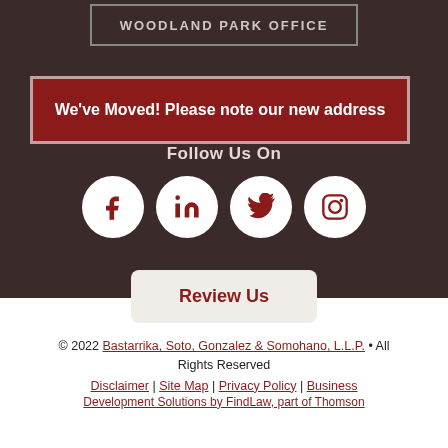WOODLAND PARK OFFICE
We've Moved! Please note our new address
Follow Us On
[Figure (other): Social media icons: Facebook, LinkedIn, Twitter, Instagram — white circles on dark background with dark red icons]
Review Us
© 2022 Bastarrika, Soto, Gonzalez & Somohano, L.L.P. • All Rights Reserved
Disclaimer | Site Map | Privacy Policy | Business Development Solutions by FindLaw, part of Thomson
Disclaimer | Site Map | Privacy Policy | Business
Development Solutions by FindLaw, part of Thomson